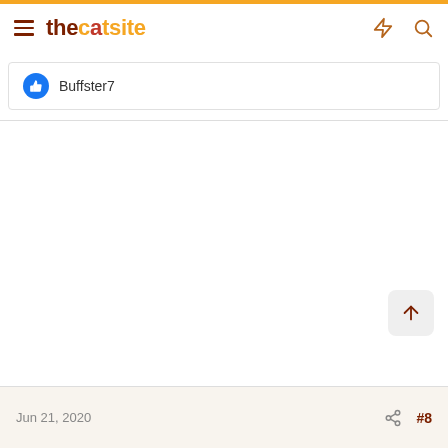thecatsite
Buffster7
Jun 21, 2020  #8